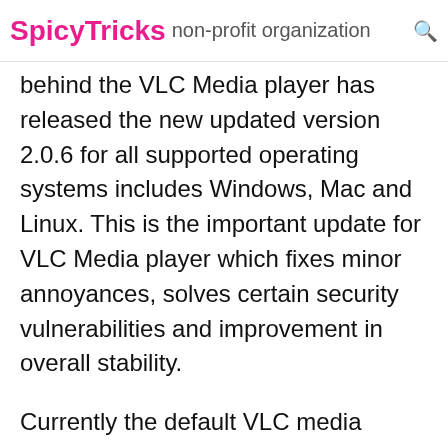SpicyTricks non-profit organization
behind the VLC Media player has released the new updated version 2.0.6 for all supported operating systems includes Windows, Mac and Linux. This is the important update for VLC Media player which fixes minor annoyances, solves certain security vulnerabilities and improvement in overall stability.
Currently the default VLC media player's update checker can't pull out the latest version, so you have to download it directly from the VideoLAN website. Just